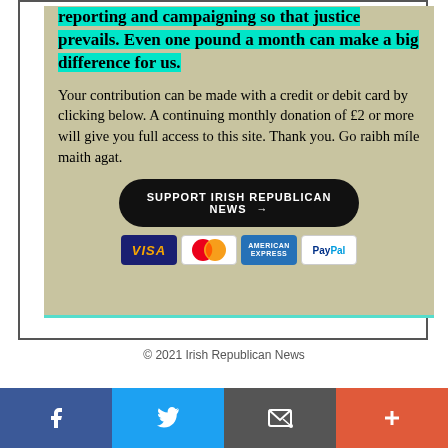reporting and campaigning so that justice prevails. Even one pound a month can make a big difference for us.
Your contribution can be made with a credit or debit card by clicking below. A continuing monthly donation of £2 or more will give you full access to this site. Thank you. Go raibh míle maith agat.
[Figure (other): Dark pill-shaped button with text 'Support Irish Republican News' and arrow]
[Figure (other): Payment icons: Visa, Mastercard, American Express, PayPal]
© 2021 Irish Republican News
[Figure (other): Social sharing bar with Facebook, Twitter, email, and plus icons]